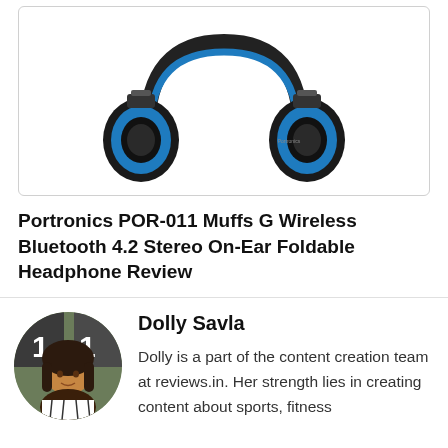[Figure (photo): Photo of black and blue Portronics wireless Bluetooth headphones on white background inside a rounded border box]
Portronics POR-011 Muffs G Wireless Bluetooth 4.2 Stereo On-Ear Foldable Headphone Review
[Figure (photo): Circular cropped portrait photo of Dolly Savla, a young woman with long dark hair wearing a striped top]
Dolly Savla
Dolly is a part of the content creation team at reviews.in. Her strength lies in creating content about sports, fitness